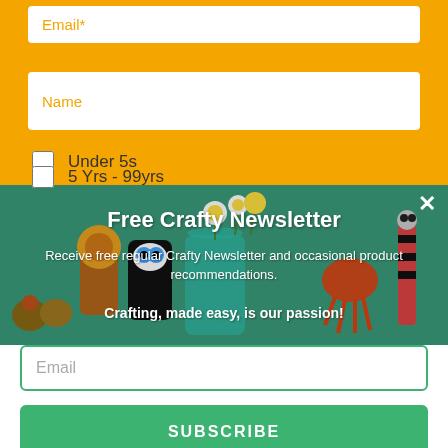Email*
Name
Under 5s
5 Yrs - 99yrs
[Figure (photo): Colorful handmade crafts including paper tube animals, painted rocks, and flowers in a vase arranged on a white shelf.]
Free Crafty Newsletter
Receive free regular Crafty Newsletter and occasional product recommendations.
Crafting, made easy, is our passion!
Email
SUBSCRIBE